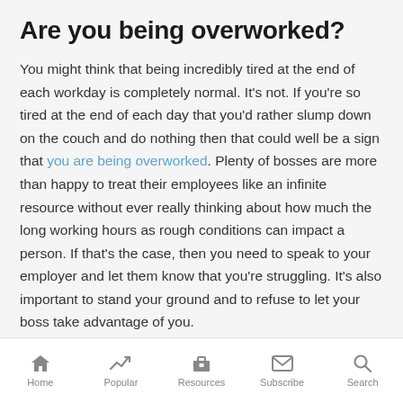Are you being overworked?
You might think that being incredibly tired at the end of each workday is completely normal. It’s not. If you’re so tired at the end of each day that you’d rather slump down on the couch and do nothing then that could well be a sign that you are being overworked. Plenty of bosses are more than happy to treat their employees like an infinite resource without ever really thinking about how much the long working hours as rough conditions can impact a person. If that’s the case, then you need to speak to your employer and let them know that you’re struggling. It’s also important to stand your ground and to refuse to let your boss take advantage of you.
Home | Popular | Resources | Subscribe | Search